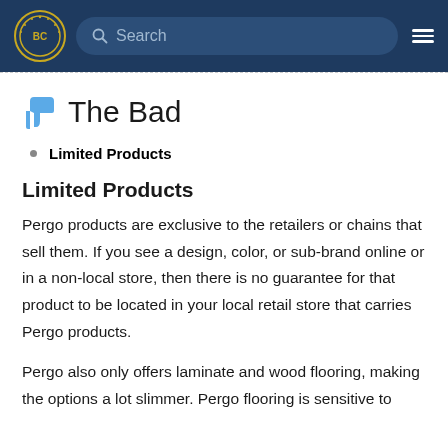BC | Search | ☰
The Bad
Limited Products
Limited Products
Pergo products are exclusive to the retailers or chains that sell them. If you see a design, color, or sub-brand online or in a non-local store, then there is no guarantee for that product to be located in your local retail store that carries Pergo products.
Pergo also only offers laminate and wood flooring, making the options a lot slimmer. Pergo flooring is sensitive to